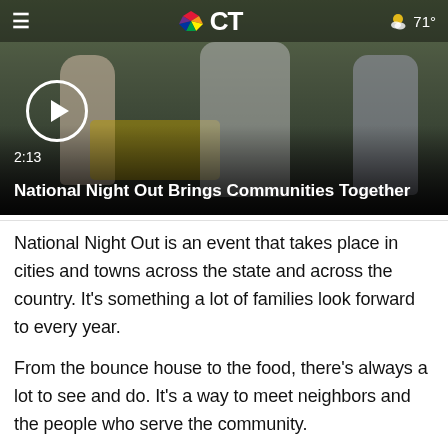[Figure (screenshot): NBC CT news video thumbnail showing people at a National Night Out community event outdoors. Overlay shows play button, duration 2:13, and title 'National Night Out Brings Communities Together'. Top bar shows hamburger menu, NBC CT logo, and weather icon with 71° temperature.]
National Night Out is an event that takes place in cities and towns across the state and across the country. It's something a lot of families look forward to every year.
From the bounce house to the food, there's always a lot to see and do. It's a way to meet neighbors and the people who serve the community.